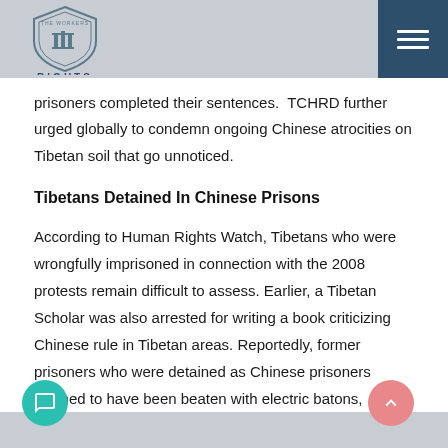[Figure (logo): The Workers Rights shield logo with text RIGHTS below]
prisoners completed their sentences.  TCHRD further urged globally to condemn ongoing Chinese atrocities on Tibetan soil that go unnoticed.
Tibetans Detained In Chinese Prisons
According to Human Rights Watch, Tibetans who were wrongfully imprisoned in connection with the 2008 protests remain difficult to assess. Earlier, a Tibetan Scholar was also arrested for writing a book criticizing Chinese rule in Tibetan areas. Reportedly, former prisoners who were detained as Chinese prisoners claimed to have been beaten with electric batons,